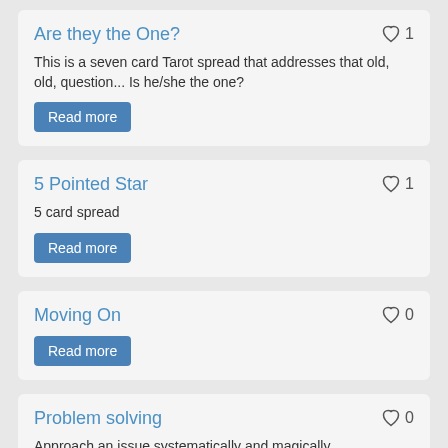Are they the One?
This is a seven card Tarot spread that addresses that old, old, question... Is he/she the one?
Read more
5 Pointed Star
5 card spread
Read more
Moving On
Read more
Problem solving
Approach an issue systematically and magically.